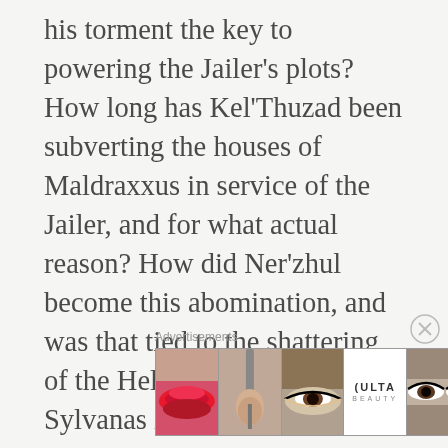his torment the key to powering the Jailer's plots? How long has Kel'Thuzad been subverting the houses of Maldraxxus in service of the Jailer, and for what actual reason? How did Ner'zhul become this abomination, and was that tied to the shattering of the Helm of Domination by Sylvanas in the Shadowlands cinematic or something else? The answers we get all tie up the basic loose ends – they won't be threats anymore – but also leave an unsatisfying lack of context or other information.
Advertisements
[Figure (photo): Advertisement banner for ULTA Beauty showing close-up images of lips, makeup brush, eye with eyeshadow, ULTA logo, eyes with dramatic makeup, and SHOP NOW call to action.]